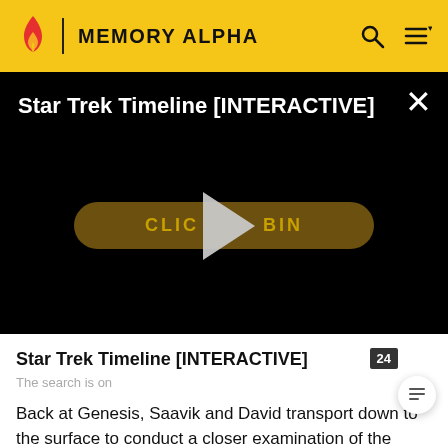MEMORY ALPHA
[Figure (screenshot): Star Trek Timeline [INTERACTIVE] video player with black background, a dark golden 'CLICK TO BEGIN' button, and a large white play triangle overlay in the center. A white X close button is in the top right corner.]
Star Trek Timeline [INTERACTIVE]
The search is on
Back at Genesis, Saavik and David transport down to the surface to conduct a closer examination of the